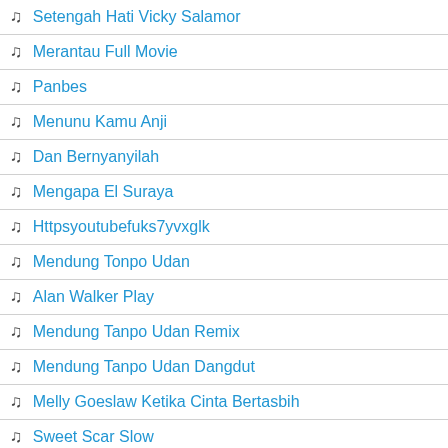Setengah Hati Vicky Salamor
Merantau Full Movie
Panbes
Menunu Kamu Anji
Dan Bernyanyilah
Mengapa El Suraya
Httpsyoutubefuks7yvxglk
Mendung Tonpo Udan
Alan Walker Play
Mendung Tanpo Udan Remix
Mendung Tanpo Udan Dangdut
Melly Goeslaw Ketika Cinta Bertasbih
Sweet Scar Slow
Rizky Febian Mahalini
Saling Ko Baling Manis Rendy Dan Silva